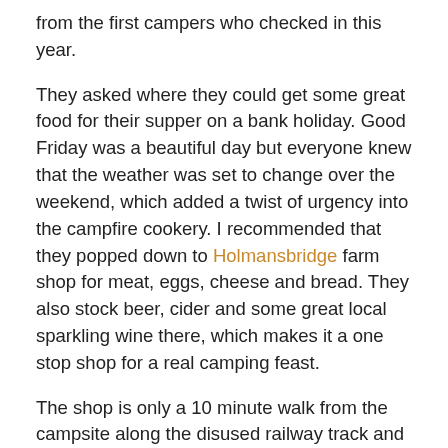from the first campers who checked in this year.
They asked where they could get some great food for their supper on a bank holiday. Good Friday was a beautiful day but everyone knew that the weather was set to change over the weekend, which added a twist of urgency into the campfire cookery. I recommended that they popped down to Holmansbridge farm shop for meat, eggs, cheese and bread. They also stock beer, cider and some great local sparkling wine there, which makes it a one stop shop for a real camping feast.
The shop is only a 10 minute walk from the campsite along the disused railway track and was surprisingly still open late in the afternoon.
Cooking during a camping trip is best kept pretty simple. This allows you to savor the real flavours of the ingredients that you use. We wrote about cooking a steak sandwich in the escapees handbook and this is what we